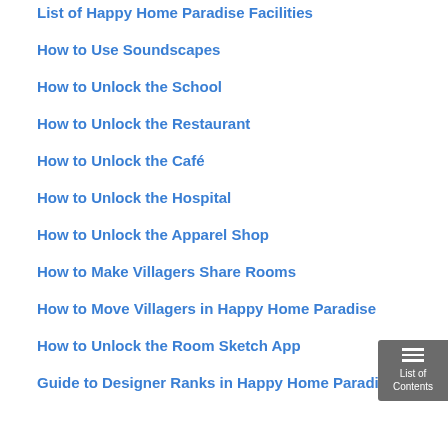List of Happy Home Paradise Facilities
How to Use Soundscapes
How to Unlock the School
How to Unlock the Restaurant
How to Unlock the Café
How to Unlock the Hospital
How to Unlock the Apparel Shop
How to Make Villagers Share Rooms
How to Move Villagers in Happy Home Paradise
How to Unlock the Room Sketch App
Guide to Designer Ranks in Happy Home Paradise